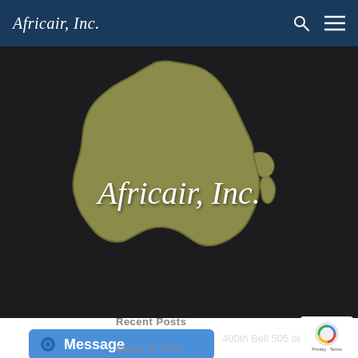Africair, Inc.
[Figure (logo): Africair, Inc. company logo: olive/khaki colored silhouette of the African continent on a dark background, with cursive white text reading 'Africair, Inc.' overlaid on the lower portion of the continent shape.]
Recent Posts
400th Bell 505 delivery
August 14, 2022